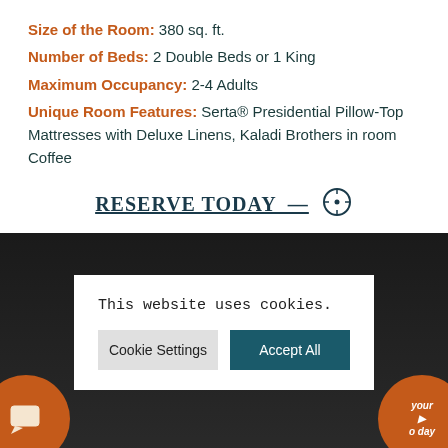Size of the Room: 380 sq. ft.
Number of Beds: 2 Double Beds or 1 King
Maximum Occupancy: 2-4 Adults
Unique Room Features: Serta® Presidential Pillow-Top Mattresses with Deluxe Linens, Kaladi Brothers in room Coffee
RESERVE TODAY →
[Figure (screenshot): Dark hotel room background image partially visible behind cookie consent banner]
This website uses cookies. Cookie Settings  Accept All